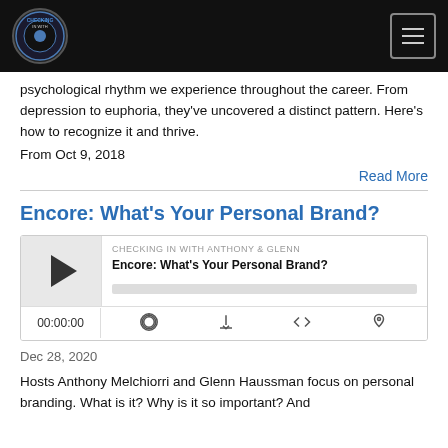CHECKING IN WITH ANTHONY & GLENN
psychological rhythm we experience throughout the career. From depression to euphoria, they've uncovered a distinct pattern. Here's how to recognize it and thrive.
From Oct 9, 2018
Read More
Encore: What's Your Personal Brand?
[Figure (other): Audio player widget showing podcast episode 'Encore: What's Your Personal Brand?' from 'Checking In With Anthony & Glenn', with play button, progress bar, time display 00:00:00, and control icons for RSS, download, embed, and profile.]
Dec 28, 2020
Hosts Anthony Melchiorri and Glenn Haussman focus on personal branding. What is it? Why is it so important? And